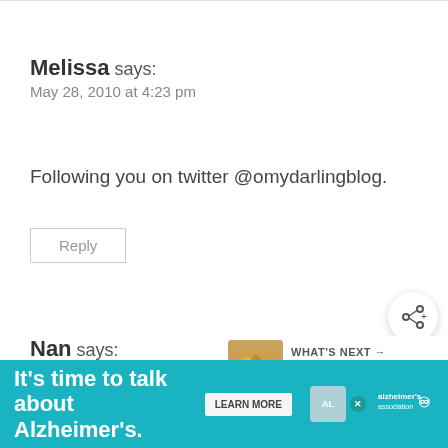Melissa says:
May 28, 2010 at 4:23 pm
Following you on twitter @omydarlingblog.
Reply
Nan says:
May 28, 2010 at 5:07 pm
[Figure (infographic): Share button icon (circular button with share symbol)]
[Figure (infographic): WHAT'S NEXT widget showing food image and text 'One Pot Meals and Easy...']
[Figure (infographic): Advertisement banner: It's time to talk about Alzheimer's. LEARN MORE. Alzheimer's Association logo.]